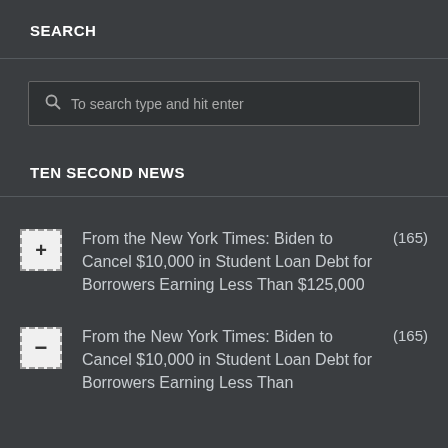SEARCH
[Figure (screenshot): Search input box with magnifying glass icon and placeholder text 'To search type and hit enter']
TEN SECOND NEWS
From the New York Times: Biden to Cancel $10,000 in Student Loan Debt for Borrowers Earning Less Than $125,000 (165)
From the New York Times: Biden to Cancel $10,000 in Student Loan Debt for Borrowers Earning Less Than $125,000 (165)